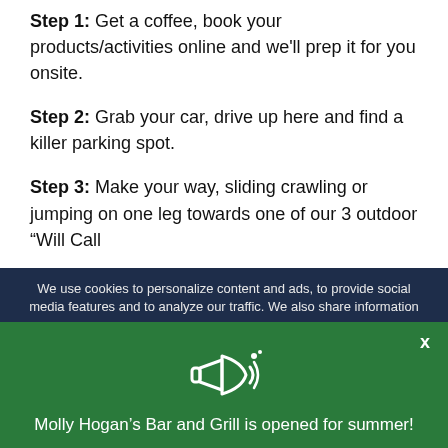Step 1: Get a coffee, book your products/activities online and we'll prep it for you onsite.
Step 2: Grab your car, drive up here and find a killer parking spot.
Step 3: Make your way, sliding crawling or jumping on one leg towards one of our 3 outdoor “Will Call
We use cookies to personalize content and ads, to provide social media features and to analyze our traffic. We also share information
Molly Hogan’s Bar and Grill is opened for summer!